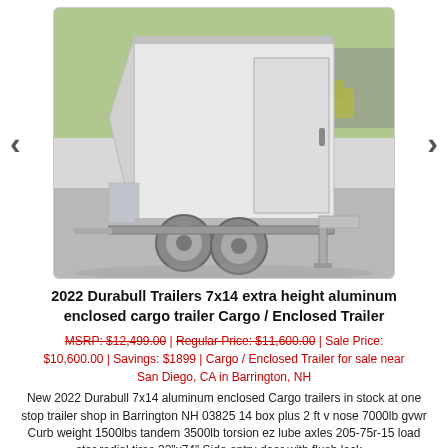[Figure (photo): Photo of a white 2022 Durabull aluminum enclosed cargo trailer with tandem axles, side entry door visible, parked on pavement with trees and a yellow car in background. Navigation arrows on left and right sides.]
2022 Durabull Trailers 7x14 extra height aluminum enclosed cargo trailer Cargo / Enclosed Trailer
MSRP: $12,499.00 | Regular Price: $11,600.00 | Sale Price: $10,600.00 | Savings: $1899 | Cargo / Enclosed Trailer for sale near San Diego, CA in Barrington, NH
New 2022 Durabull 7x14 aluminum enclosed Cargo trailers in stock at one stop trailer shop in Barrington NH 03825 14 box plus 2 ft v nose 7000lb gvwr Curb weight 1500lbs tandem 3500lb torsion ez lube axles 205-75r-15 load star radial tires 32"x74" Side entry door with flush lock...